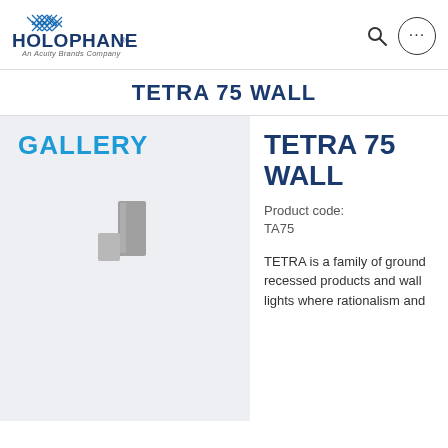[Figure (logo): Holophane logo with diamond grid pattern and text 'HOLOPHANE® An Acuity Brands Company']
TETRA 75 WALL
[Figure (photo): Gallery placeholder showing a small grey wall light fixture (Tetra 75 Wall product) on a light grey background]
TETRA 75 WALL
Product code: TA75
TETRA is a family of ground recessed products and wall lights where rationalism and